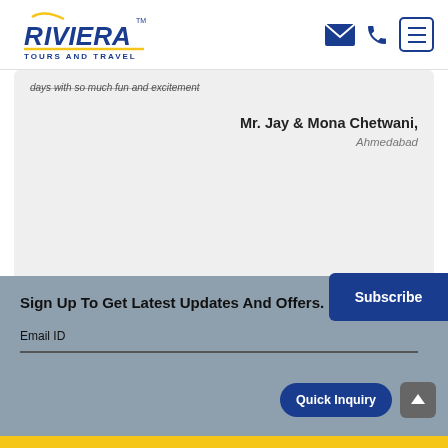[Figure (logo): Riviera Tours and Travel logo with blue text and yellow underline]
days with so much fun and excitement
Mr. Jay & Mona Chetwani,
Ahmedabad
Sign Up To Get Latest Updates And Offers.
Email ID
Subscribe
Quick Inquiry